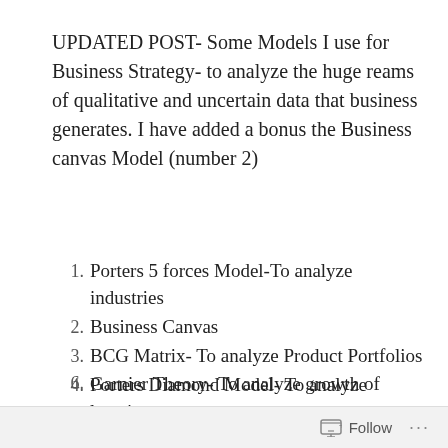UPDATED POST- Some Models I use for Business Strategy- to analyze the huge reams of qualitative and uncertain data that business generates. I have added a bonus the Business canvas Model (number 2)
Porters 5 forces Model-To analyze industries
Business Canvas
BCG Matrix- To analyze Product Portfolios
Porters Diamond Model- To analyze locations
McKinsey 7 S Model-To analyze teams
Garnier Theory- To analyze growth of
Follow ···